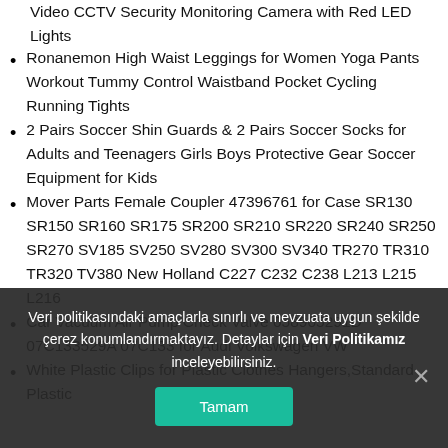Fake Camera Simulation Camera Indoor Outdoor Dummy Surveillance Video CCTV Security Monitoring Camera with Red LED Lights
Ronanemon High Waist Leggings for Women Yoga Pants Workout Tummy Control Waistband Pocket Cycling Running Tights
2 Pairs Soccer Shin Guards & 2 Pairs Soccer Socks for Adults and Teenagers Girls Boys Protective Gear Soccer Equipment for Kids
Mover Parts Female Coupler 47396761 for Case SR130 SR150 SR160 SR175 SR200 SR210 SR220 SR240 SR250 SR270 SV185 SV250 SV280 SV300 SV340 TR270 TR310 TR320 TV380 New Holland C227 C232 C238 L213 L215 L216
Car Vacuum Air Pump Check Valve 058905291D 07C133529A 07C133 for Audi Volkswagen VW
White Plastic Clips for Plastic Clothes Hangers,Standard Plastic
Veri politikasındaki amaçlarla sınırlı ve mevzuata uygun şekilde çerez konumlandırmaktayız. Detaylar için Veri Politikamız inceleyebilirsiniz.
Tamam